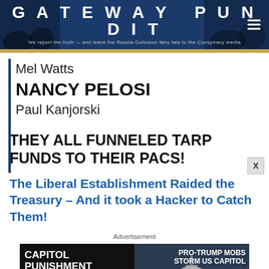GATEWAY PUNDIT — We report the truth — and leave the Russia-Collusion fairy tale to the Conspiracy media
Mel Watts
NANCY PELOSI
Paul Kanjorski
THEY ALL FUNNELED TARP FUNDS TO THEIR PACs!
The Liberal Establishment Raided the Treasury – And it took a Hacker to Catch Them!
Advertisement
[Figure (photo): Capitol Punishment advertisement banner featuring text 'JOIN OVER 85,000 OTHER PEOPLE WHO LEARNED THE TRUTH ABOUT THE JANUARY 6TH CAPITOL', WATCH NOW button, image of US Capitol building, and 'PRO-TRUMP MOBS STORM US CAPITOL' headline with crowd photo and POLICE text overlay. Red bottom bar with text: JANUARY 6 WAS YEARS IN THE MAKING AND THE THREAT TO THE SURVIVAL OF AMERICA AS WE KNOW IT HAS NEVER BEEN GREATER.]